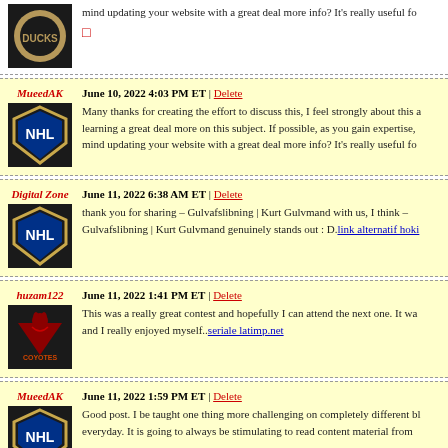mind updating your website with a great deal more info? It's really useful fo...
0
MueedAK — June 10, 2022 4:03 PM ET | Delete
Many thanks for creating the effort to discuss this, I feel strongly about this a... learning a great deal more on this subject. If possible, as you gain expertise, ... mind updating your website with a great deal more info? It's really useful fo...
Digital Zone — June 11, 2022 6:38 AM ET | Delete
thank you for sharing – Gulvafslibning | Kurt Gulvmand with us, I think – Gulvafslibning | Kurt Gulvmand genuinely stands out : D. link alternatif hoki
huzam122 — June 11, 2022 1:41 PM ET | Delete
This was a really great contest and hopefully I can attend the next one. It wa... and I really enjoyed myself.. seriale latimp.net
MueedAK — June 11, 2022 1:59 PM ET | Delete
Good post. I be taught one thing more challenging on completely different bl... everyday. It is going to always be stimulating to read content material from...